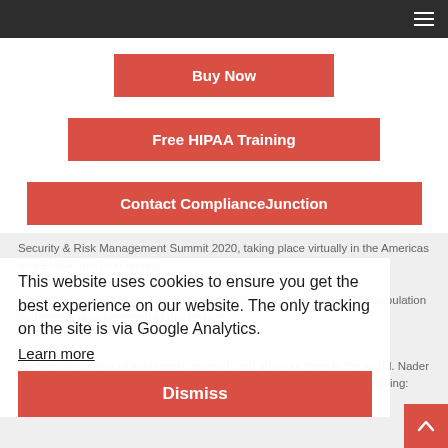Buy Now
Free HIPAA Training
Contact ComplianceJunction
Security & Risk Management Summit 2020, taking place virtually in the Americas and EMEA, this time around...
The report shows that in 2010 there had been just 10% of the world's population had private data protected in this fashion.
This website uses cookies to ensure you get the best experience on our website. The only tracking on the site is via Google Analytics.
Learn more
Dismiss
Gartner, Inc. is one of the largest research and advisory firms in the world. Nader Henein, research vice president at Gartner, commented on the report saying: "With more countries